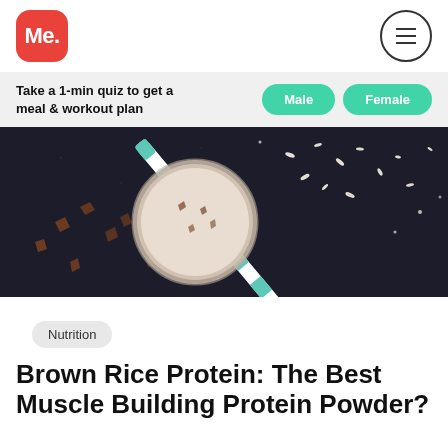Me.
Take a 1-min quiz to get a meal & workout plan
Male  Female
[Figure (photo): Overhead photo of a milkshake/protein shake in a glass jar with a teal striped straw, scattered rice grains and chocolate pieces on a dark surface]
Nutrition
Brown Rice Protein: The Best Muscle Building Protein Powder?